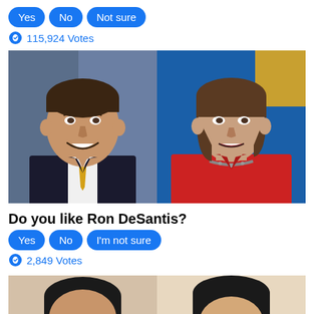Yes | No | Not sure
115,924 Votes
[Figure (photo): Two side-by-side photos: Ron DeSantis (left) in official portrait with US flag, and Nancy Pelosi (right) in red jacket speaking at an event.]
Do you like Ron DeSantis?
Yes | No | I'm not sure
2,849 Votes
[Figure (photo): Two side-by-side photos partially visible at bottom of page showing two dark-haired individuals.]